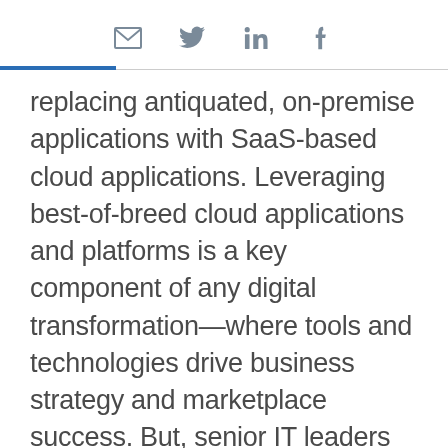[email] [twitter] [linkedin] [facebook]
replacing antiquated, on-premise applications with SaaS-based cloud applications. Leveraging best-of-breed cloud applications and platforms is a key component of any digital transformation—where tools and technologies drive business strategy and marketplace success. But, senior IT leaders are wary of creating decentralized silos of data and business processes. They need to know that they are creating efficiencies, not barriers. Combining, maintaining, and evolving a